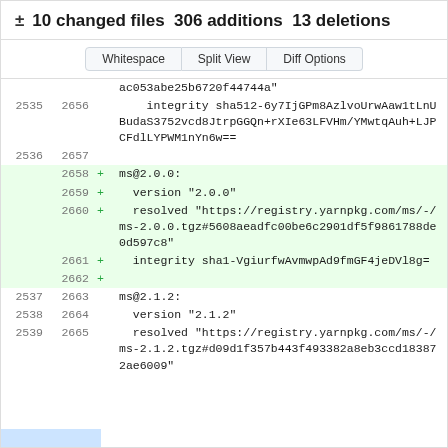± 10 changed files 306 additions 13 deletions
Whitespace | Split View | Diff Options
| old | new | sign | code |
| --- | --- | --- | --- |
|  |  |  | ac053abe25b6720f44744a" |
| 2535 | 2656 |  |     integrity sha512-6y7IjGPm8AzlvoUrwAaw1tLnUBudaS3752vcd8JtrpGGQn+rXIe63LFVHm/YMwtqAuh+LJPCFdlLYPWM1nYn6w== |
| 2536 | 2657 |  |  |
|  | 2658 | + | ms@2.0.0: |
|  | 2659 | + |   version "2.0.0" |
|  | 2660 | + |   resolved "https://registry.yarnpkg.com/ms/-/ms-2.0.0.tgz#5608aeadfc00be6c2901df5f9861788de0d597c8" |
|  | 2661 | + |   integrity sha1-VgiurfwAvmwpAd9fmGF4jeDVl8g= |
|  | 2662 | + |  |
| 2537 | 2663 |  | ms@2.1.2: |
| 2538 | 2664 |  |   version "2.1.2" |
| 2539 | 2665 |  |   resolved "https://registry.yarnpkg.com/ms/-/ms-2.1.2.tgz#d09d1f357b443f493382a8eb3ccd183872ae6009" |